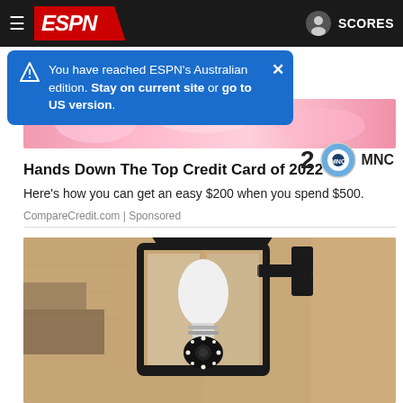ESPN navigation bar with hamburger menu, ESPN logo, user icon, and SCORES link
You have reached ESPN's Australian edition. Stay on current site or go to US version.
[Figure (screenshot): Pink/colorful ad image strip at top of advertisement]
2  MNC (score row with Manchester City badge)
Hands Down The Top Credit Card of 2022
Here's how you can get an easy $200 when you spend $500.
CompareCredit.com | Sponsored
[Figure (photo): Outdoor wall lantern/sconce with a white light bulb security camera installed inside, mounted on a rough textured stucco wall. The lantern has a black metal frame with glass panes.]